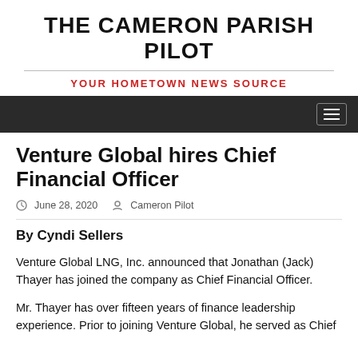THE CAMERON PARISH PILOT
YOUR HOMETOWN NEWS SOURCE
Venture Global hires Chief Financial Officer
June 28, 2020   Cameron Pilot
By Cyndi Sellers
Venture Global LNG, Inc. announced that Jonathan (Jack) Thayer has joined the company as Chief Financial Officer.
Mr. Thayer has over fifteen years of finance leadership experience. Prior to joining Venture Global, he served as Chief